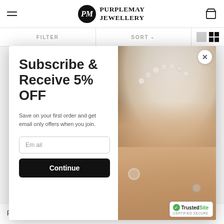PurpleMay Jewellery
FILTER   SORT
Subscribe & Receive 5% OFF
Save on your first order and get email only offers when you join.
Email
Continue
[Figure (photo): Hands wearing pearl bracelet and rings, holding a white fabric accessory, against dark background]
TrustedSite CERTIFIED SECURE
personality and lifestyle, and we've earned in for